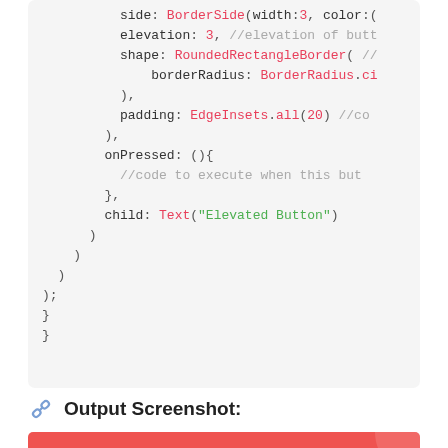[Figure (screenshot): Code block showing Flutter/Dart widget code with syntax highlighting. Lines include: side: BorderSide(width:3, color:(...)), elevation: 3, //elevation of butt, shape: RoundedRectangleBorder( //, borderRadius: BorderRadius.ci, ), padding: EdgeInsets.all(20) //co, ), onPressed: (){, //code to execute when this but, }, child: Text('Elevated Button'), ) ) ) ); } }]
Output Screenshot:
[Figure (screenshot): Red/coral colored button output screenshot showing 'Elevated Button' text in white on a red background]